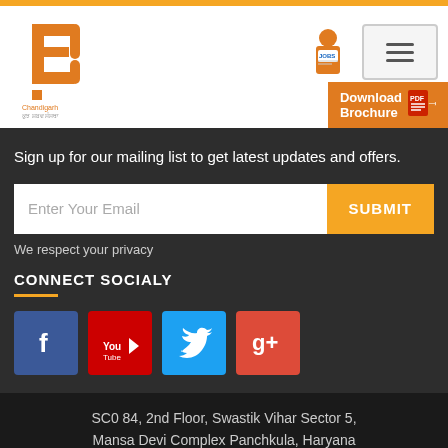[Figure (logo): Orange building/letter B logo for an educational institute with Hindi text below]
[Figure (logo): Orange Jobs icon with a person reading newspaper and hamburger menu button]
[Figure (other): Download Brochure button with PDF icon]
Sign up for our mailing list to get latest updates and offers.
Enter Your Email
SUBMIT
We respect your privacy
CONNECT SOCIALY
[Figure (other): Social media icons: Facebook (blue), YouTube (red), Twitter (blue), Google+ (red)]
SC0 84, 2nd Floor, Swastik Vihar Sector 5, Mansa Devi Complex Panchkula, Haryana 134109
440/3 Village Katha, Baddi Himachal Pradesh